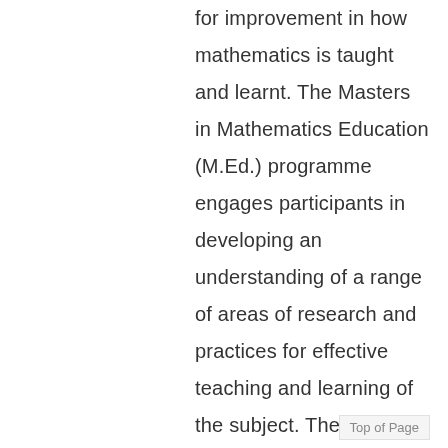for improvement in how mathematics is taught and learnt. The Masters in Mathematics Education (M.Ed.) programme engages participants in developing an understanding of a range of areas of research and practices for effective teaching and learning of the subject. The course content provides opportunities for the participants to gain insights relating to different aspects of the programme to include: the mathematics curriculum, mathematical thinking and
Top of Page